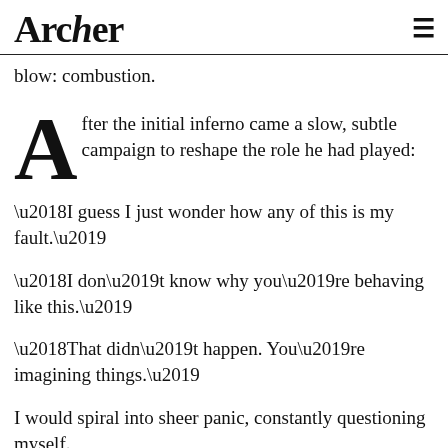Archer
blow: combustion.
After the initial inferno came a slow, subtle campaign to reshape the role he had played:
‘I guess I just wonder how any of this is my fault.’
‘I don’t know why you’re behaving like this.’
‘That didn’t happen. You’re imagining things.’
I would spiral into sheer panic, constantly questioning myself.
I would wake up in the early hours of the